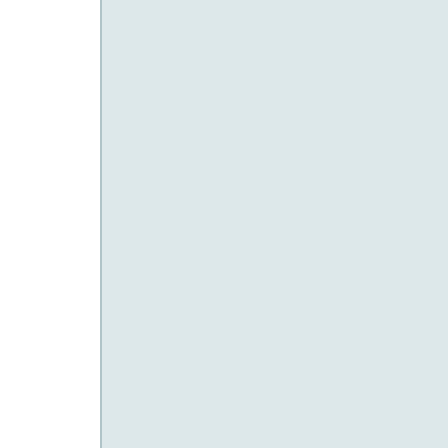be upon him), saying, "The heart of an old man remains young in two respects, i.e., his love for the world (its wealth, amusements and luxuries) and his incessant hope." [Sahih al-Bukhari]
Narrated Abu Huraira: Allah's Messenger (peace and blessings of Allah be upon him) said: "Allah says, 'I have nothing to give but Paradise as a reward to my believers...